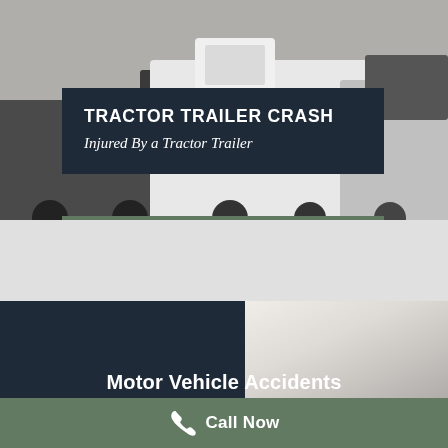[Figure (photo): Black and white photo of large tractor trailer trucks]
TRACTOR TRAILER CRASH
Injured By a Tractor Trailer
[Figure (photo): Split image: dark navy panel on left, blurred outdoor scene on right]
Motor Vehicle Accidents
Call Now